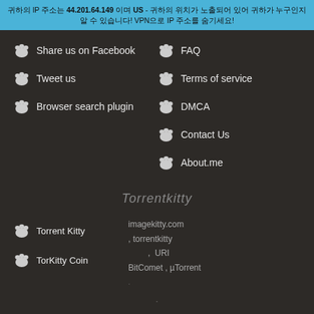귀하의 IP 주소는 44.201.64.149 이며 US - 귀하의 위치가 노출되어 있어 귀하가 누구인지 알 수 있습니다! VPN으로 IP 주소를 숨기세요!
Share us on Facebook
FAQ
Tweet us
Terms of service
Browser search plugin
DMCA
Contact Us
About.me
Torrentkitty
Torrent Kitty
TorKitty Coin
imagekitty.com , torrentkitty URI BitComet , µTorrent .
.
[Figure (illustration): Torrentkitty mascot cat illustration with HTML5 logo]
Copyright 2012 kr.torrentkitty.pro®, all rights reserved. Thank you